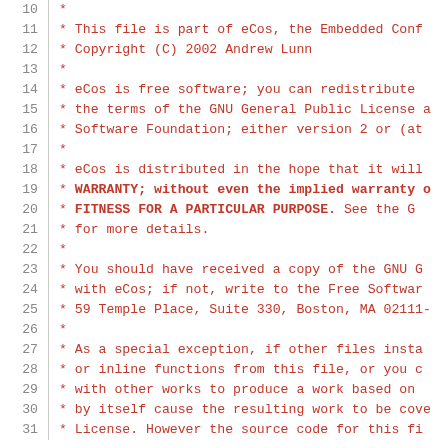Source code listing lines 10-31, eCos license header comment block
10  *
11  * This file is part of eCos, the Embedded Conf...
12  * Copyright (C) 2002 Andrew Lunn
13  *
14  * eCos is free software; you can redistribute ...
15  * the terms of the GNU General Public License a...
16  * Software Foundation; either version 2 or (at...
17  *
18  * eCos is distributed in the hope that it will...
19  * WARRANTY; without even the implied warranty o...
20  * FITNESS FOR A PARTICULAR PURPOSE.  See the G...
21  * for more details.
22  *
23  * You should have received a copy of the GNU G...
24  * with eCos; if not, write to the Free Softwar...
25  * 59 Temple Place, Suite 330, Boston, MA 02111-...
26  *
27  * As a special exception, if other files insta...
28  * or inline functions from this file, or you c...
29  * with other works to produce a work based on ...
30  * by itself cause the resulting work to be cov...
31  * License. However the source code for this fi...